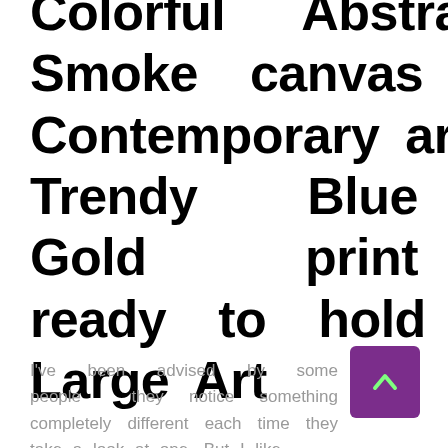Colorful Abstract Smoke canvas print Contemporary artwork Trendy Blue Gold print ready to hold Extra Large Art
I've been advised by some people they notice something completely different each time they take a look at one. But I like